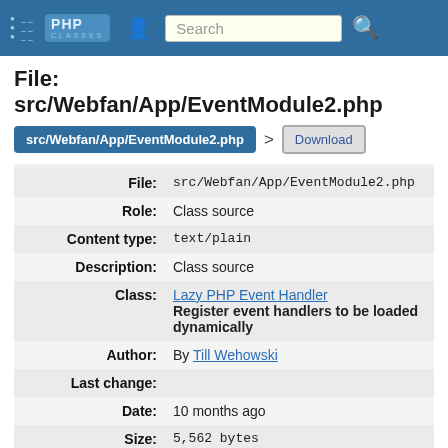PHP Classes — Search
File: src/Webfan/App/EventModule2.php
src/Webfan/App/EventModule2.php > Download
| Field | Value |
| --- | --- |
| File: | src/Webfan/App/EventModule2.php |
| Role: | Class source |
| Content type: | text/plain |
| Description: | Class source |
| Class: | Lazy PHP Event Handler
Register event handlers to be loaded dynamically |
| Author: | By Till Wehowski |
| Last change: |  |
| Date: | 10 months ago |
| Size: | 5,562 bytes |